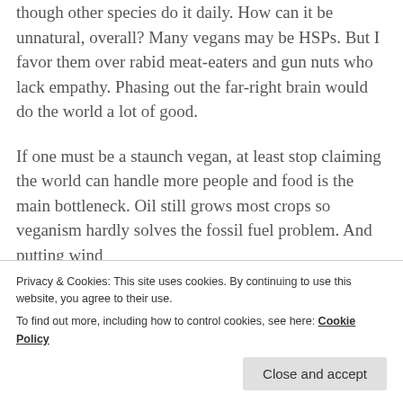though other species do it daily. How can it be unnatural, overall? Many vegans may be HSPs. But I favor them over rabid meat-eaters and gun nuts who lack empathy. Phasing out the far-right brain would do the world a lot of good.
If one must be a staunch vegan, at least stop claiming the world can handle more people and food is the main bottleneck. Oil still grows most crops so veganism hardly solves the fossil fuel problem. And putting wind
Privacy & Cookies: This site uses cookies. By continuing to use this website, you agree to their use.
To find out more, including how to control cookies, see here: Cookie Policy